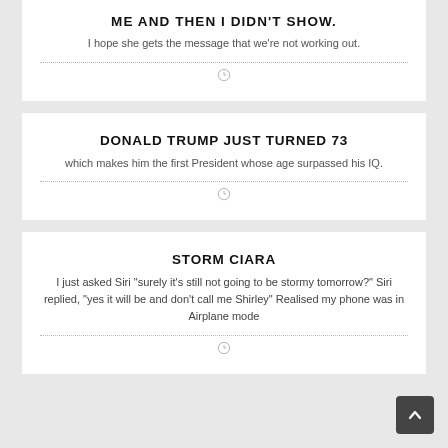ME AND THEN I DIDN'T SHOW.
I hope she gets the message that we're not working out.
DONALD TRUMP JUST TURNED 73
which makes him the first President whose age surpassed his IQ.
STORM CIARA
I just asked Siri "surely it's still not going to be stormy tomorrow?" Siri replied, "yes it will be and don't call me Shirley" Realised my phone was in Airplane mode